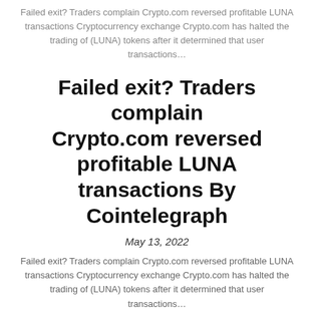Failed exit? Traders complain Crypto.com reversed profitable LUNA transactions Cryptocurrency exchange Crypto.com has halted the trading of (LUNA) tokens after it determined that user transactions...
Failed exit? Traders complain Crypto.com reversed profitable LUNA transactions By Cointelegraph
May 13, 2022
Failed exit? Traders complain Crypto.com reversed profitable LUNA transactions Cryptocurrency exchange Crypto.com has halted the trading of (LUNA) tokens after it determined that user transactions...
Altcoin Roundup: Crypto indexes offer broad access, but are they profitable in